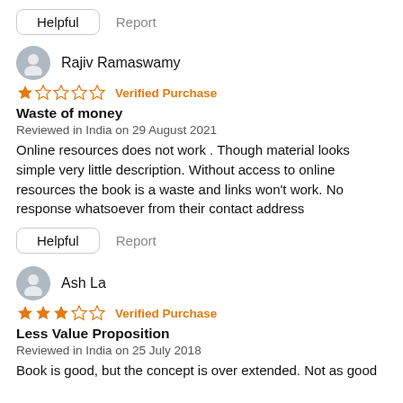Helpful   Report
Rajiv Ramaswamy
★☆☆☆☆ Verified Purchase
Waste of money
Reviewed in India on 29 August 2021
Online resources does not work . Though material looks simple very little description. Without access to online resources the book is a waste and links won't work. No response whatsoever from their contact address
Helpful   Report
Ash La
★★★☆☆ Verified Purchase
Less Value Proposition
Reviewed in India on 25 July 2018
Book is good, but the concept is over extended. Not as good